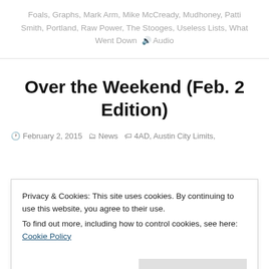Foals, Graphs, Mark Arm, Mike McCready, Mudhoney, Patti Smith, Portland, Raw Power, The Stooges, Useless Lists, What Went Down   Audio
Over the Weekend (Feb. 2 Edition)
February 2, 2015   News   4AD, Austin City Limits,
Privacy & Cookies: This site uses cookies. By continuing to use this website, you agree to their use.
To find out more, including how to control cookies, see here: Cookie Policy
Close and accept
(partial bottom tags row, cut off)